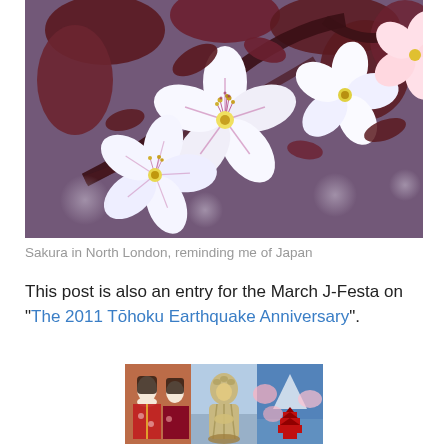[Figure (photo): Close-up photograph of white cherry blossom (sakura) flowers with dark reddish-brown leaves on branches, bokeh background]
Sakura in North London, reminding me of Japan
This post is also an entry for the March J-Festa on “The 2011 Tōhoku Earthquake Anniversary”.
[Figure (photo): Banner image showing collage of Japanese cultural scenes: geisha women, large Buddha statue, cherry blossoms and red pagoda]